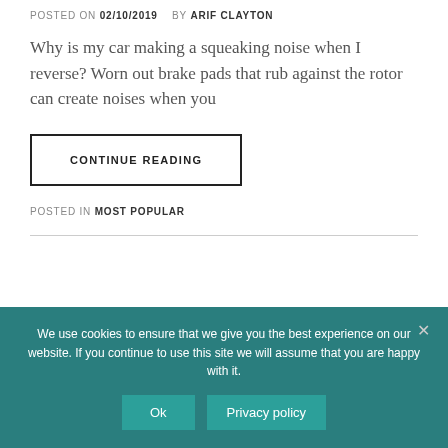POSTED ON 02/10/2019   BY ARIF CLAYTON
Why is my car making a squeaking noise when I reverse? Worn out brake pads that rub against the rotor can create noises when you
CONTINUE READING
POSTED IN MOST POPULAR
We use cookies to ensure that we give you the best experience on our website. If you continue to use this site we will assume that you are happy with it.
Ok
Privacy policy